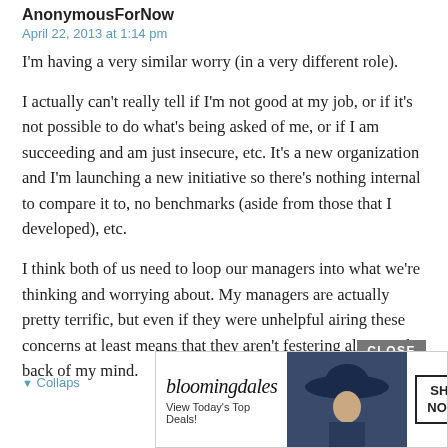AnonymousForNow
April 22, 2013 at 1:14 pm
I'm having a very similar worry (in a very different role).
I actually can't really tell if I'm not good at my job, or if it's not possible to do what's being asked of me, or if I am succeeding and am just insecure, etc. It's a new organization and I'm launching a new initiative so there's nothing internal to compare it to, no benchmarks (aside from those that I developed), etc.
I think both of us need to loop our managers into what we're thinking and worrying about. My managers are actually pretty terrific, but even if they were unhelpful airing these concerns at least means that they aren't festering alone in the back of my mind.
▼ Collapse
[Figure (screenshot): Bloomingdale's advertisement banner with logo, 'View Today's Top Deals!' text, image of woman in blue hat, and 'SHOP NOW >' button. Has a 'CLOSE' button above it.]